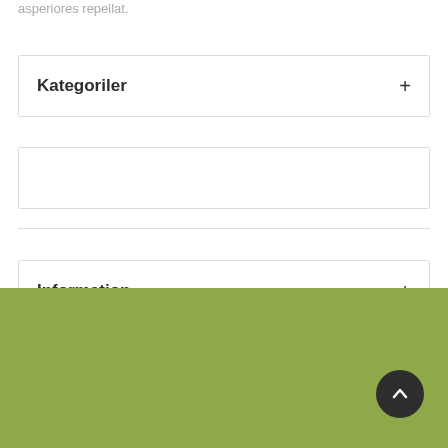asperiores repellat.
Kategoriler
Information